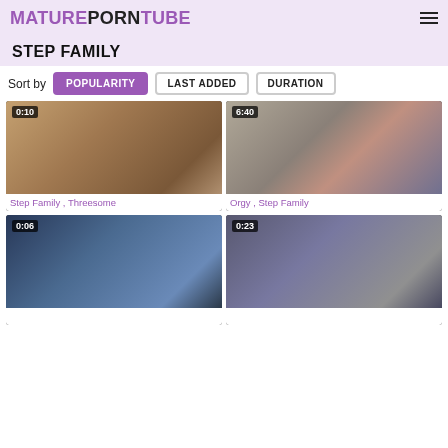MATUREPORNTUBE
STEP FAMILY
Sort by  POPULARITY  LAST ADDED  DURATION
[Figure (screenshot): Video thumbnail showing duration 0:10, with tags Step Family, Threesome]
[Figure (screenshot): Video thumbnail showing duration 6:40, with tags Orgy, Step Family]
[Figure (screenshot): Video thumbnail showing duration 0:06]
[Figure (screenshot): Video thumbnail showing duration 0:23]